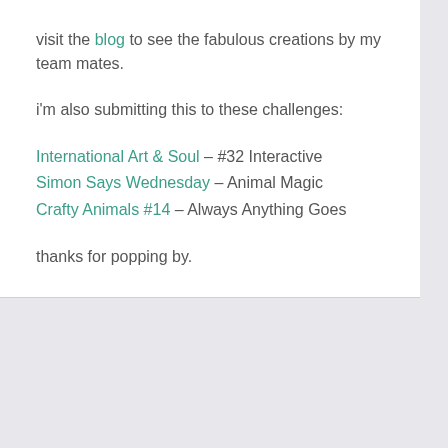visit the blog to see the fabulous creations by my team mates.
i'm also submitting this to these challenges:
International Art & Soul – #32 Interactive
Simon Says Wednesday – Animal Magic
Crafty Animals #14 – Always Anything Goes
thanks for popping by.